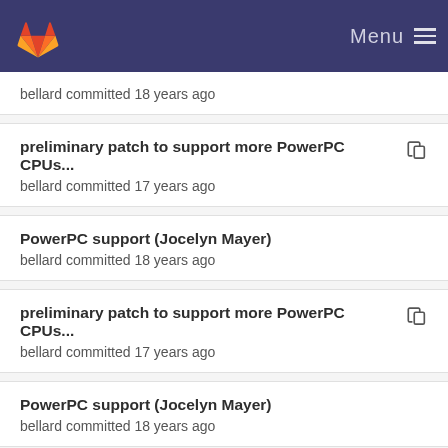Menu
bellard committed 18 years ago
preliminary patch to support more PowerPC CPUs... bellard committed 17 years ago
PowerPC support (Jocelyn Mayer) bellard committed 18 years ago
preliminary patch to support more PowerPC CPUs... bellard committed 17 years ago
PowerPC support (Jocelyn Mayer) bellard committed 18 years ago